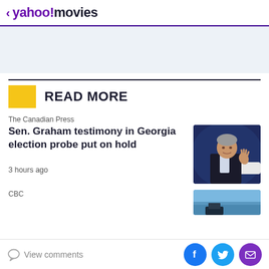< yahoo!movies
[Figure (other): Light blue/gray advertisement placeholder area]
READ MORE
The Canadian Press
Sen. Graham testimony in Georgia election probe put on hold
3 hours ago
[Figure (photo): Man in dark suit gesturing with hand raised, seated against dark blue background]
CBC
[Figure (photo): Partial image with blue sky background, appears to show equipment or machinery]
View comments